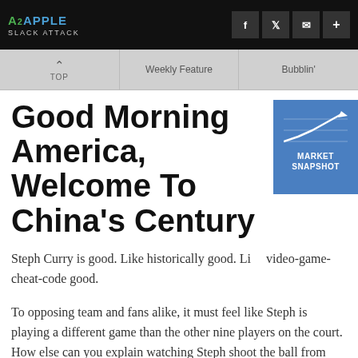A2APPLE SLACK ATTACK
Good Morning America, Welcome To China's Century
Steph Curry is good. Like historically good. Like video-game-cheat-code good.
To opposing team and fans alike, it must feel like Steph is playing a different game than the other nine players on the court. How else can you explain watching Steph shoot the ball from